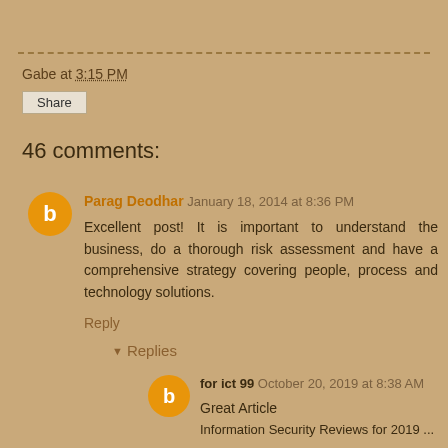Gabe at 3:15 PM
Share
46 comments:
Parag Deodhar  January 18, 2014 at 8:36 PM
Excellent post! It is important to understand the business, do a thorough risk assessment and have a comprehensive strategy covering people, process and technology solutions.
Reply
▾ Replies
for ict 99  October 20, 2019 at 8:38 AM
Great Article